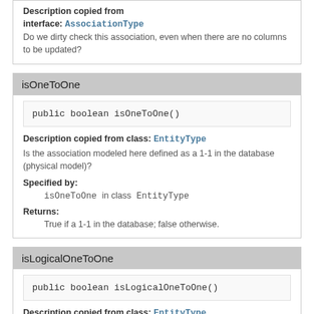Description copied from interface: AssociationType
Do we dirty check this association, even when there are no columns to be updated?
isOneToOne
public boolean isOneToOne()
Description copied from class: EntityType
Is the association modeled here defined as a 1-1 in the database (physical model)?
Specified by:
isOneToOne in class EntityType
Returns:
True if a 1-1 in the database; false otherwise.
isLogicalOneToOne
public boolean isLogicalOneToOne()
Description copied from class: EntityType
Is the association modeled here a 1-1 according to the